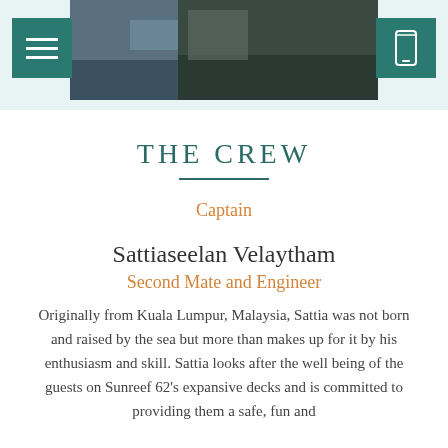[Figure (photo): Top navigation bar with hamburger menu button on the left and phone icon button on the right, with two boat/sea photographs behind them on a light teal background]
THE CREW
Captain
Sattiaseelan Velaytham
Second Mate and Engineer
Originally from Kuala Lumpur, Malaysia, Sattia was not born and raised by the sea but more than makes up for it by his enthusiasm and skill. Sattia looks after the well being of the guests on Sunreef 62's expansive decks and is committed to providing them a safe, fun and